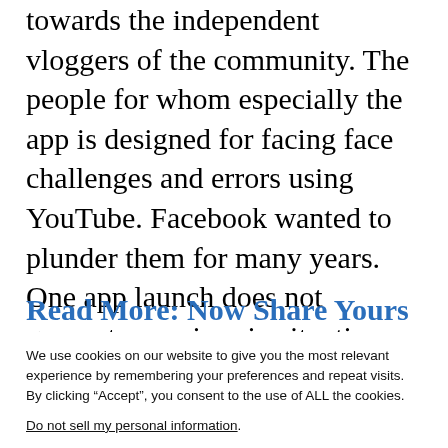towards the independent vloggers of the community. The people for whom especially the app is designed for facing face challenges and errors using YouTube. Facebook wanted to plunder them for many years. One app launch does not guarantee a win-win situation but continuous efforts and commitment could help in winning the people over.
Read More: Now Share Yours for the
We use cookies on our website to give you the most relevant experience by remembering your preferences and repeat visits. By clicking “Accept”, you consent to the use of ALL the cookies.
Do not sell my personal information.
Cookie Settings
Accept